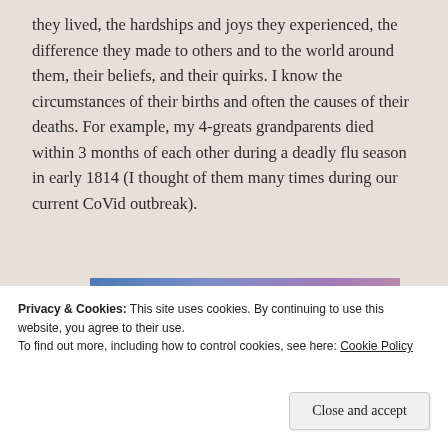they lived, the hardships and joys they experienced, the difference they made to others and to the world around them, their beliefs, and their quirks. I know the circumstances of their births and often the causes of their deaths. For example, my 4-greats grandparents died within 3 months of each other during a deadly flu season in early 1814 (I thought of them many times during our current CoVid outbreak).
[Figure (photo): Blurred gradient image with blue to purple tones, showing a partial book cover element in orange/tan color at top right, and a circular play button outline at bottom left.]
Privacy & Cookies: This site uses cookies. By continuing to use this website, you agree to their use.
To find out more, including how to control cookies, see here: Cookie Policy